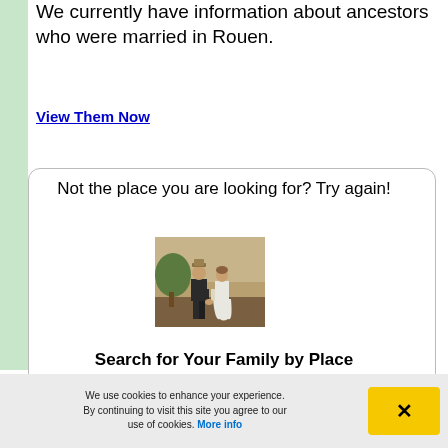We currently have information about ancestors who were married in Rouen.
View Them Now
Not the place you are looking for? Try again!
[Figure (photo): Vintage illustration of a couple seen from behind, the man in a dark suit and hat, the woman in a white dress, holding hands outdoors.]
Search for Your Family by Place
We use cookies to enhance your experience. By continuing to visit this site you agree to our use of cookies. More info